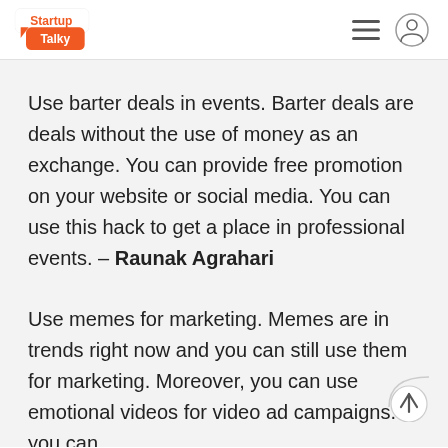StartupTalky
Use barter deals in events. Barter deals are deals without the use of money as an exchange. You can provide free promotion on your website or social media. You can use this hack to get a place in professional events. – Raunak Agrahari
Use memes for marketing. Memes are in trends right now and you can still use them for marketing. Moreover, you can use emotional videos for video ad campaigns. If you can